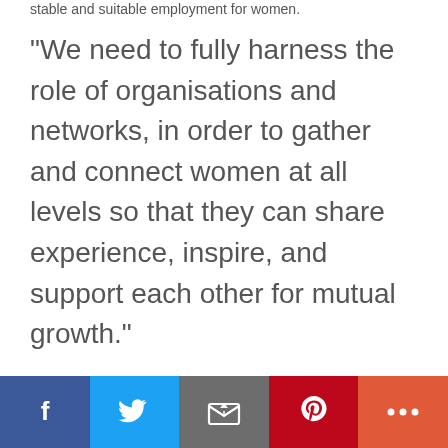stable and suitable employment for women.
"We need to fully harness the role of organisations and networks, in order to gather and connect women at all levels so that they can share experience, inspire, and support each other for mutual growth."
[Figure (infographic): Social sharing bar with icons for Facebook, Twitter, Email, Pinterest, and More (+)]